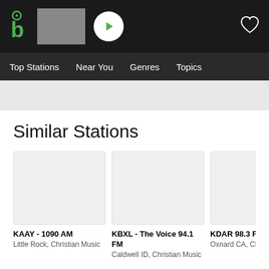[Figure (screenshot): App top navigation bar with logo, gray thumbnail, play button, and heart icon]
Top Stations   Near You   Genres   Topics
Similar Stations
[Figure (screenshot): Station card placeholder image for KAAY - 1090 AM]
KAAY - 1090 AM
Little Rock, Christian Music
[Figure (screenshot): Station card placeholder image for KBXL - The Voice 94.1 FM]
KBXL - The Voice 94.1 FM
Caldwell ID, Christian Music
[Figure (screenshot): Station card placeholder image for KDAR 98.3 FM]
KDAR 98.3 FM
Oxnard CA, Christian Music
[Figure (screenshot): Station card placeholder image for WASD Life Ta 101.9]
WASD Life Ta 101.9
Aiken S Music